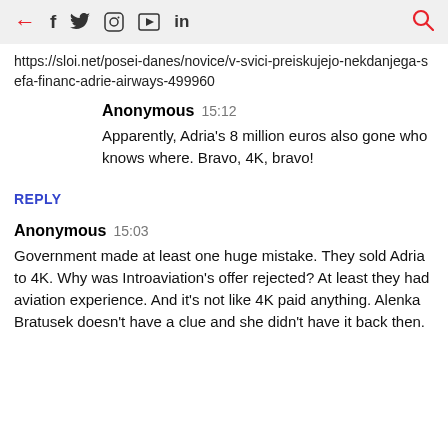← f 🐦 📷 ▶ in 🔍
https://sloi.net/posei-danes/novice/v-svici-preiskujejo-nekdanjega-sefa-financ-adrie-airways-499960
Anonymous  15:12
Apparently, Adria's 8 million euros also gone who knows where. Bravo, 4K, bravo!
REPLY
Anonymous  15:03
Government made at least one huge mistake. They sold Adria to 4K. Why was Introaviation's offer rejected? At least they had aviation experience. And it's not like 4K paid anything. Alenka Bratusek doesn't have a clue and she didn't have it back then.